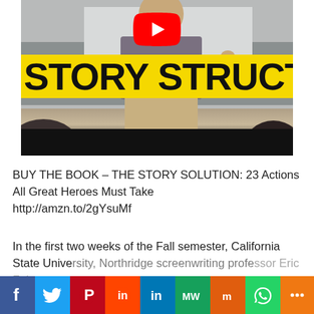[Figure (screenshot): YouTube video thumbnail showing a man teaching in a classroom with a yellow banner reading 'STORY STRUCTURE' and a YouTube play button overlay]
BUY THE BOOK – THE STORY SOLUTION: 23 Actions All Great Heroes Must Take
http://amzn.to/2gYsuMf
In the first two weeks of the Fall semester, California State University, Northridge screenwriting professor Eric Folso...
[Figure (infographic): Social media share bar with icons: Facebook, Twitter, Pinterest, Reddit, LinkedIn, MeWe, Mix, WhatsApp, More]